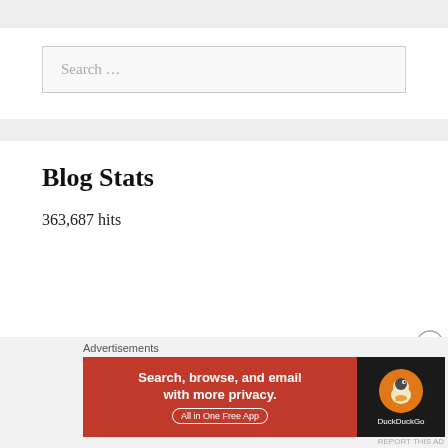Search …
Blog Stats
363,687 hits
Advertisements
[Figure (screenshot): DuckDuckGo advertisement banner: orange-red left section with text 'Search, browse, and email with more privacy. All in One Free App' and dark right section with DuckDuckGo logo and duck icon.]